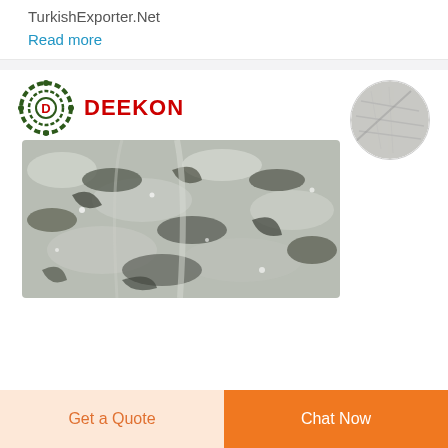TurkishExporter.Net
Read more
[Figure (logo): DEEKON brand logo with camouflage circle target icon and red bold DEEKON text]
[Figure (photo): Camouflage fabric product photo showing grey/green/brown multicam pattern fabric with close-up fabric texture circle inset]
Get a Quote
Chat Now